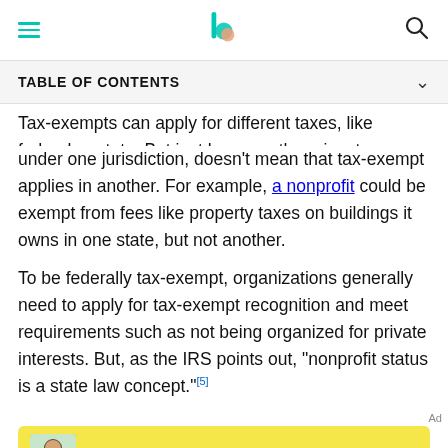[hamburger menu] [Better.com logo] [search icon]
TABLE OF CONTENTS
Tax-exempts can apply for different taxes, like federal or state. But just because there is a tax exemption under one jurisdiction, doesn't mean that tax-exempt applies in another. For example, a nonprofit could be exempt from fees like property taxes on buildings it owns in one state, but not another.
To be federally tax-exempt, organizations generally need to apply for tax-exempt recognition and meet requirements such as not being organized for private interests. But, as the IRS points out, "nonprofit status is a state law concept."[5]
[Figure (other): Advertisement banner for Better Mortgage with yellow background. Headline: 'Look, then lock a low mortgage rate'. Subtext: 'Better Mortgage Corp. NMLS #330511'. Brand logo: 'Better' in green bold font. Image of a person on left side.]